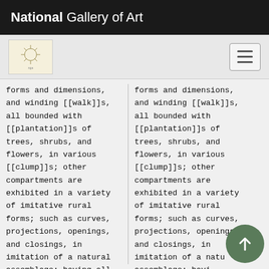National Gallery of Art
forms and dimensions, and winding [[walk]]s, all bounded with [[plantation]]s of trees, shrubs, and flowers, in various [[clump]]s; other compartments are exhibited in a variety of imitative rural forms; such as curves, projections, openings, and closings, in imitation of a natural assemblage; having all the various [[plantation]]s and
forms and dimensions, and winding [[walk]]s, all bounded with [[plantation]]s of trees, shrubs, and flowers, in various [[clump]]s; other compartments are exhibited in a variety of imitative rural forms; such as curves, projections, openings, and closings, in imitation of a natural assemblage; having all the various [[plantation]]s and